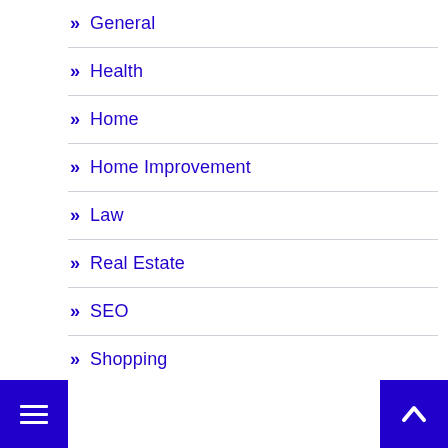» General
» Health
» Home
» Home Improvement
» Law
» Real Estate
» SEO
» Shopping
» Social Media
Software
» Sports